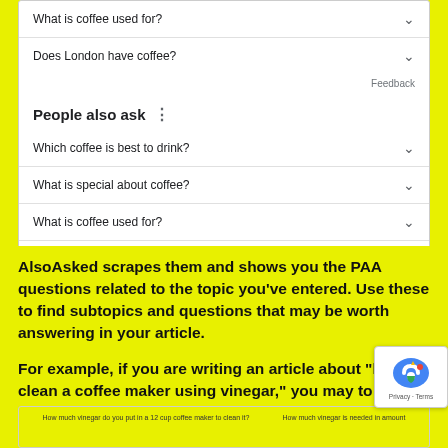[Figure (screenshot): Google search FAQ box showing 'People also ask' section with questions: What is coffee used for?, Does London have coffee?, Which coffee is best to drink?, What is special about coffee?, What is coffee used for?, Does London have coffee? All with expand chevrons and Feedback links.]
AlsoAsked scrapes them and shows you the PAA questions related to the topic you’ve entered. Use these to find subtopics and questions that may be worth answering in your article.
For example, if you are writing an article about “how to clean a coffee maker using vinegar,” you may to answer these questions:
[Figure (screenshot): Bottom screenshot showing a chart with text 'How much vinegar do you put in a 12 cup coffee maker to clean it?']